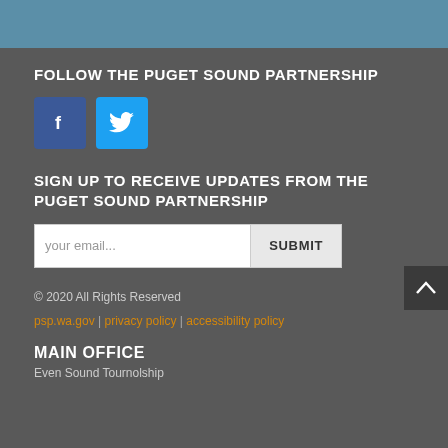FOLLOW THE PUGET SOUND PARTNERSHIP
[Figure (other): Facebook and Twitter social media icon buttons]
SIGN UP TO RECEIVE UPDATES FROM THE PUGET SOUND PARTNERSHIP
your email... SUBMIT
© 2020 All Rights Reserved
psp.wa.gov | privacy policy | accessibility policy
MAIN OFFICE
Even Sound Tournolship